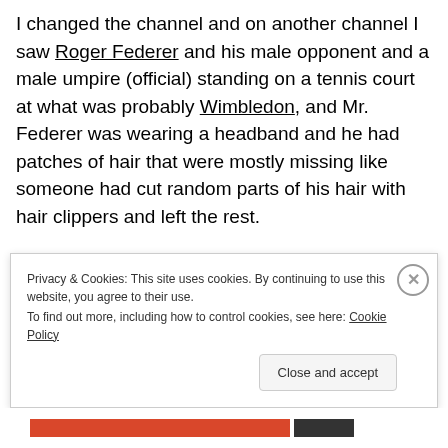I changed the channel and on another channel I saw Roger Federer and his male opponent and a male umpire (official) standing on a tennis court at what was probably Wimbledon, and Mr. Federer was wearing a headband and he had patches of hair that were mostly missing like someone had cut random parts of his hair with hair clippers and left the rest.
Privacy & Cookies: This site uses cookies. By continuing to use this website, you agree to their use.
To find out more, including how to control cookies, see here: Cookie Policy